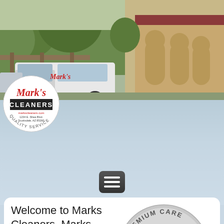[Figure (photo): Outdoor scene with a white Mark's Cleaners van parked in front of a building with arched doorways, trees in background. Panoramic banner photo at top of page.]
[Figure (logo): Mark's Cleaners circular logo with script text 'Mark's', 'CLEANERS', 'QUALITY SERVICE', address details, overlapping bottom-left of photo banner.]
[Figure (screenshot): Hamburger menu button (three horizontal white lines on dark rounded rectangle background) centered in the misty blue sky area.]
Welcome to Marks Cleaners. Marks Cleaners proudly serves the Scottsdale, Arizona area. For the past 25
[Figure (logo): Mark's Cleaners Premium Care circular logo — gray circle with 'PREMIUM CARE' arc text, black band with red script 'Mark's' and white 'CLEANERS', markscleaners.com at bottom.]